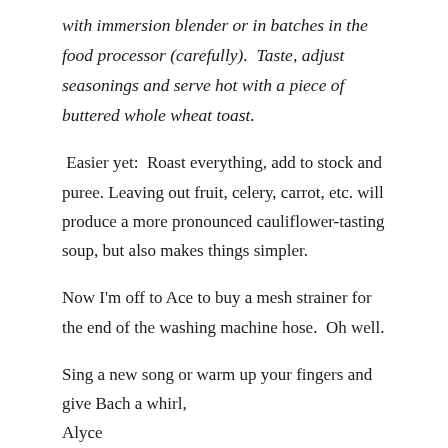with immersion blender or in batches in the food processor (carefully).  Taste, adjust seasonings and serve hot with a piece of buttered whole wheat toast.
Easier yet:  Roast everything, add to stock and puree. Leaving out fruit, celery, carrot, etc. will produce a more pronounced cauliflower-tasting soup, but also makes things simpler.
Now I'm off to Ace to buy a mesh strainer for the end of the washing machine hose.  Oh well.
Sing a new song or warm up your fingers and give Bach a whirl,
Alyce